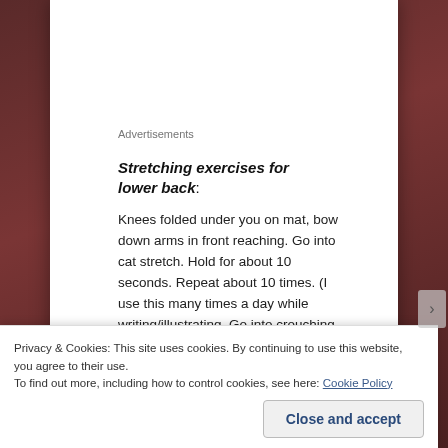Advertisements
Stretching exercises for lower back:
Knees folded under you on mat, bow down arms in front reaching. Go into cat stretch. Hold for about 10 seconds. Repeat about 10 times. (I use this many times a day while writing/illustrating. Go into crouching position illustrated below, and feel the stretch on your lower back.
Privacy & Cookies: This site uses cookies. By continuing to use this website, you agree to their use.
To find out more, including how to control cookies, see here: Cookie Policy
Close and accept